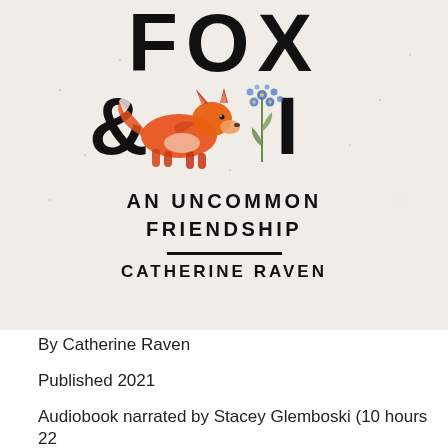[Figure (illustration): Book cover for 'Fox & I: An Uncommon Friendship' by Catherine Raven. Cream/off-white background with large bold black text reading FOX and an ampersand symbol. A watercolor illustration of a running fox in orange/red tones is overlaid on the ampersand area, alongside a small botanical illustration of blue flowers. Below reads AN UNCOMMON FRIENDSHIP with a horizontal rule, then CATHERINE RAVEN.]
By Catherine Raven
Published 2021
Audiobook narrated by Stacey Glemboski (10 hours 22